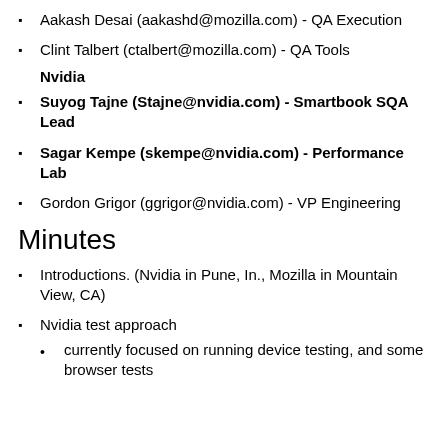Aakash Desai (aakashd@mozilla.com) - QA Execution
Clint Talbert (ctalbert@mozilla.com) - QA Tools
Nvidia
Suyog Tajne (Stajne@nvidia.com) - Smartbook SQA Lead
Sagar Kempe (skempe@nvidia.com) - Performance Lab
Gordon Grigor (ggrigor@nvidia.com) - VP Engineering
Minutes
Introductions. (Nvidia in Pune, In., Mozilla in Mountain View, CA)
Nvidia test approach
currently focused on running device testing, and some browser tests